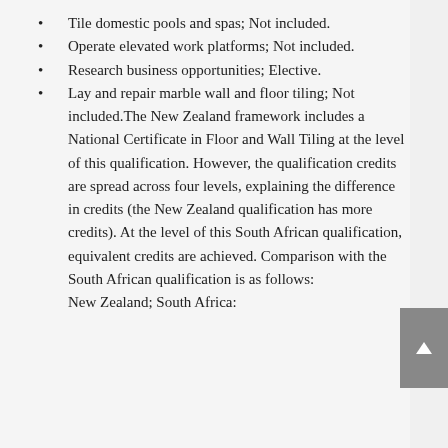Tile domestic pools and spas; Not included.
Operate elevated work platforms; Not included.
Research business opportunities; Elective.
Lay and repair marble wall and floor tiling; Not included.The New Zealand framework includes a National Certificate in Floor and Wall Tiling at the level of this qualification. However, the qualification credits are spread across four levels, explaining the difference in credits (the New Zealand qualification has more credits). At the level of this South African qualification, equivalent credits are achieved. Comparison with the South African qualification is as follows: New Zealand; South Africa: